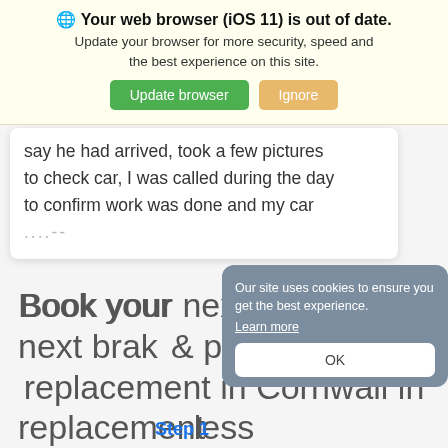[Figure (screenshot): Browser update notification banner with globe icon, bold title 'Your web browser (iOS 11) is out of date.', subtitle text, and two buttons: green 'Update browser' and tan 'Ignore']
say he had arrived, took a few pictures to check car, I was called during the day to confirm work was done and my car ....
Book your next brake discs & pads replacement in Cornwall in less than 5 minutes.
Our site uses cookies to ensure you get the best experience. Learn more
Step 1